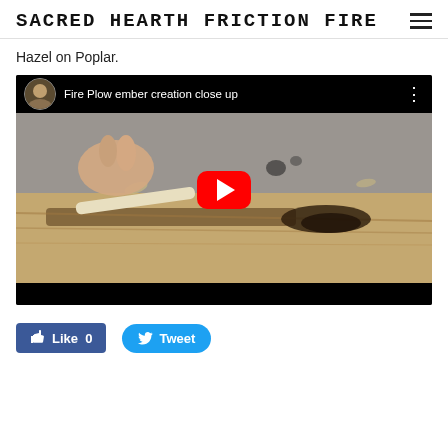SACRED HEARTH FRICTION FIRE
Hazel on Poplar.
[Figure (screenshot): YouTube video thumbnail showing a fire plow ember creation close up. A hand is seen pushing a wooden stick along a groove in a log, with dark ember dust accumulating. Title: 'Fire Plow ember creation close up'. Large red YouTube play button in center.]
Like 0   Tweet